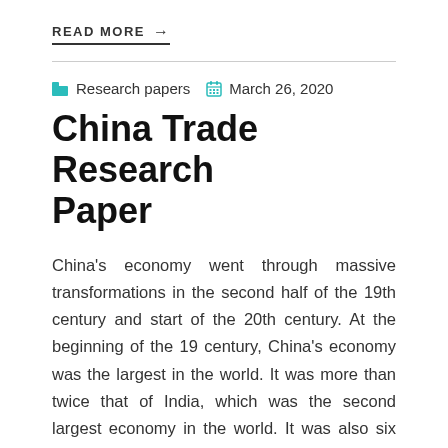READ MORE →
Research papers   March 26, 2020
China Trade Research Paper
China's economy went through massive transformations in the second half of the 19th century and start of the 20th century. At the beginning of the 19 century, China's economy was the largest in the world. It was more than twice that of India, which was the second largest economy in the world. It was also six times bigger than that of the Great Britain, which was the